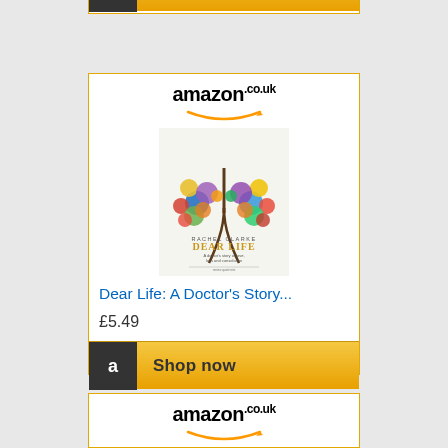[Figure (screenshot): Partial Amazon.co.uk ad banner at top with 'Shop now' button (partially visible)]
[Figure (screenshot): Amazon.co.uk advertisement for 'Dear Life: A Doctor's Story...' by Rachel Clarke, priced at £5.49, with Shop now button]
[Figure (screenshot): Partial Amazon.co.uk advertisement showing Kindle device, bottom portion cut off]